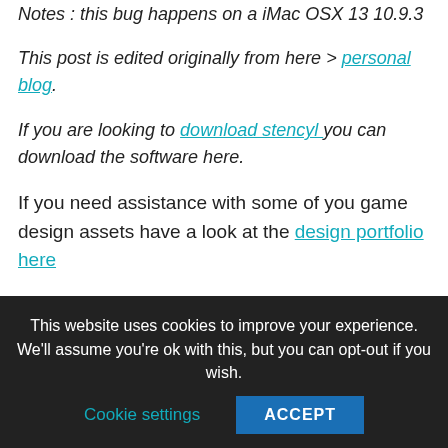Notes : this bug happens on a iMac OSX 13 10.9.3
This post is edited originally from here > personal blog.
If you are looking to download stencyl you can download the software here.
If you need assistance with some of you game design assets have a look at the design portfolio here
You may also be interested in reading how to make a board game
This website uses cookies to improve your experience. We'll assume you're ok with this, but you can opt-out if you wish.